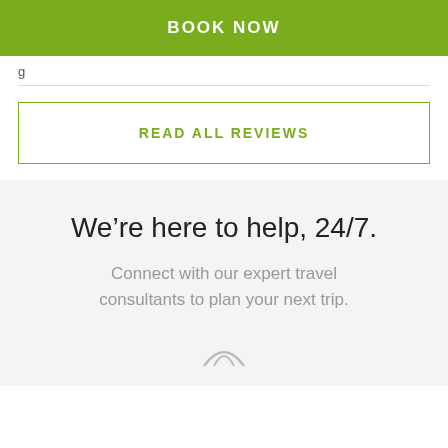BOOK NOW
g
READ ALL REVIEWS
We’re here to help, 24/7.
Connect with our expert travel consultants to plan your next trip.
[Figure (illustration): Partial icon/graphic visible at bottom of gray section]